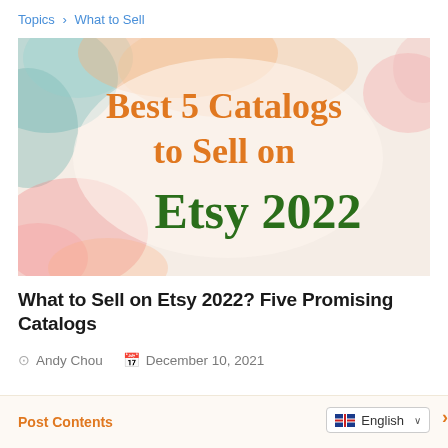Topics > What to Sell
[Figure (illustration): Decorative watercolor background image with orange/pink/teal splashes. Text overlay reads: 'Best 5 Catalogs to Sell on Etsy 2022' with 'Best 5 Catalogs to Sell on' in orange serif font and 'Etsy 2022' in dark green bold serif font.]
What to Sell on Etsy 2022? Five Promising Catalogs
Andy Chou   December 10, 2021
Post Contents